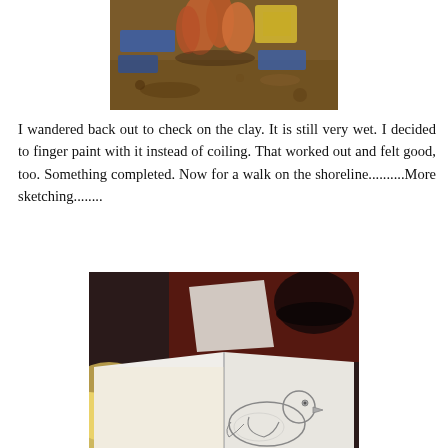[Figure (photo): Close-up photo of clay work in progress on a messy worktable, with blue and yellow/orange clay pieces visible and painted hands or clay coils.]
I wandered back out to check on the clay.  It is still very wet.  I decided to finger paint with it instead of coiling.  That worked out and felt good, too.  Something completed. Now for a walk on the shoreline..........More sketching........
[Figure (photo): Photo of an open sketchbook showing a pencil drawing of a bird (dove or pigeon), with warm light on the left and a dark circular object in the upper right background.]